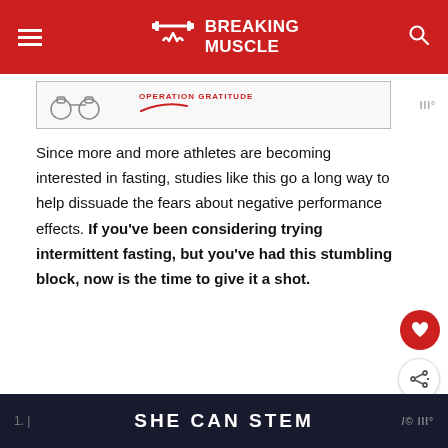BREAKING MUSCLE
[Figure (screenshot): Partial banner advertisement with illustrated kettlebell graphics and text 'OPERATION GRATITUDE' in red]
Since more and more athletes are becoming interested in fasting, studies like this go a long way to help dissuade the fears about negative performance effects. If you’ve been considering trying intermittent fasting, but you’ve had this stumbling block, now is the time to give it a shot.
References:
SHE CAN STEM